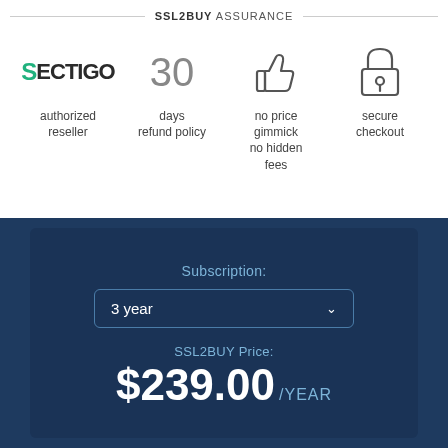SSL2BUY ASSURANCE
[Figure (logo): Sectigo authorized reseller logo]
30
days
refund policy
[Figure (illustration): Thumbs up icon - no price gimmick no hidden fees]
[Figure (illustration): Padlock icon - secure checkout]
Subscription:
3 year
SSL2BUY Price:
$239.00 /YEAR